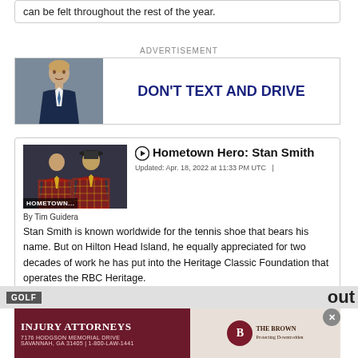can be felt throughout the rest of the year.
ADVERTISEMENT
[Figure (photo): Advertisement banner: man in suit photo on left, bold dark blue text 'DON'T TEXT AND DRIVE' on right]
[Figure (photo): Article card with thumbnail image labeled 'HOMETOWN...' showing two men in plaid jackets]
Hometown Hero: Stan Smith
Updated: Apr. 18, 2022 at 11:33 PM UTC  |
By Tim Guidera
Stan Smith is known worldwide for the tennis shoe that bears his name. But on Hilton Head Island, he equally appreciated for two decades of work he has put into the Heritage Classic Foundation that operates the RBC Heritage.
[Figure (photo): Bottom advertisement: Injury Attorneys - 7176 Hodgson Memorial Drive, Savannah, GA 31405 | 1-800-LAW-1441, with The Brown firm logo on right]